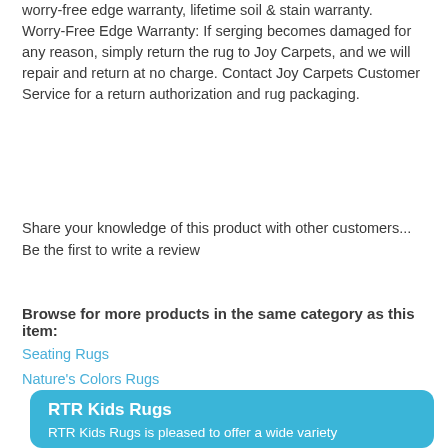worry-free edge warranty, lifetime soil & stain warranty. Worry-Free Edge Warranty: If serging becomes damaged for any reason, simply return the rug to Joy Carpets, and we will repair and return at no charge. Contact Joy Carpets Customer Service for a return authorization and rug packaging.
Share your knowledge of this product with other customers... Be the first to write a review
Browse for more products in the same category as this item:
Seating Rugs
Nature's Colors Rugs
RTR Kids Rugs
RTR Kids Rugs is pleased to offer a wide variety